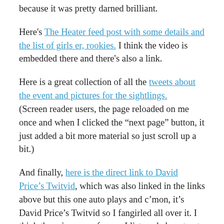because it was pretty darned brilliant.
Here's The Heater feed post with some details and the list of girls er, rookies. I think the video is embedded there and there's also a link.
Here is a great collection of all the tweets about the event and pictures for the sightlings. (Screen reader users, the page reloaded on me once and when I clicked the “next page” button, it just added a bit more material so just scroll up a bit.)
And finally, here is the direct link to David Price’s Twitvid, which was also linked in the links above but this one auto plays and c’mon, it’s David Price’s Twitvid so I fangirled all over it. I think the grin on my face as I listened almost got stuck and my eyes teared up from silent laughter as I made myself be quiet. Carol,